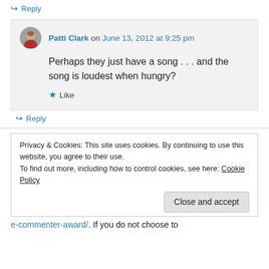↪ Reply
Patti Clark on June 13, 2012 at 9:25 pm
Perhaps they just have a song . . . and the song is loudest when hungry?
★ Like
↪ Reply
Privacy & Cookies: This site uses cookies. By continuing to use this website, you agree to their use.
To find out more, including how to control cookies, see here: Cookie Policy
Close and accept
e-commenter-award/. If you do not choose to